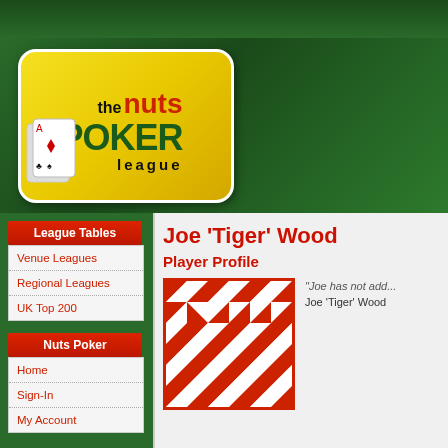[Figure (logo): The Nuts Poker League logo — yellow badge with playing cards, bold text reading 'the nuts POKER league']
League Tables
Venue Leagues
Regional Leagues
UK Top 200
Nuts Poker
Home
Sign-In
My Account
Joe 'Tiger' Wood
Player Profile
[Figure (photo): Player avatar — geometric red and white quilt-pattern square image]
"Joe has not add..."
Joe 'Tiger' Wood